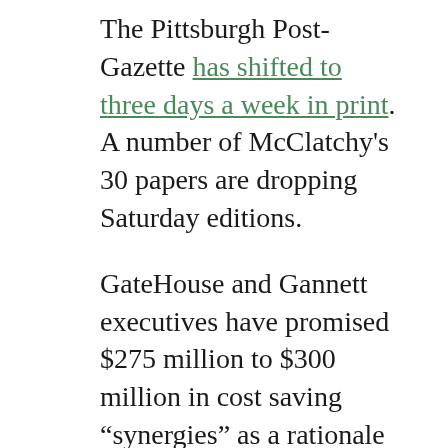The Pittsburgh Post-Gazette has shifted to three days a week in print. A number of McClatchy's 30 papers are dropping Saturday editions.
GateHouse and Gannett executives have promised $275 million to $300 million in cost saving “synergies” as a rationale for the merger. Eliminating, or even just scaling back USA Today in print, would add up to a healthy downpayment on that goal.
Phasing out print would doubtless lead to some downsizing of USA